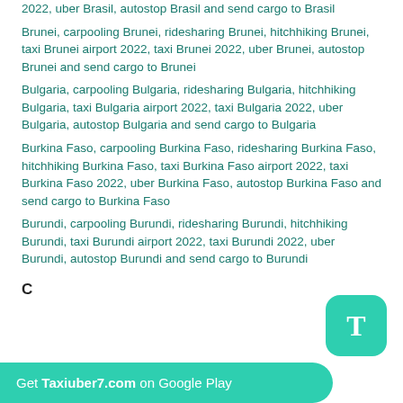2022, uber Brasil, autostop Brasil and send cargo to Brasil
Brunei, carpooling Brunei, ridesharing Brunei, hitchhiking Brunei, taxi Brunei airport 2022, taxi Brunei 2022, uber Brunei, autostop Brunei and send cargo to Brunei
Bulgaria, carpooling Bulgaria, ridesharing Bulgaria, hitchhiking Bulgaria, taxi Bulgaria airport 2022, taxi Bulgaria 2022, uber Bulgaria, autostop Bulgaria and send cargo to Bulgaria
Burkina Faso, carpooling Burkina Faso, ridesharing Burkina Faso, hitchhiking Burkina Faso, taxi Burkina Faso airport 2022, taxi Burkina Faso 2022, uber Burkina Faso, autostop Burkina Faso and send cargo to Burkina Faso
Burundi, carpooling Burundi, ridesharing Burundi, hitchhiking Burundi, taxi Burundi airport 2022, taxi Burundi 2022, uber Burundi, autostop Burundi and send cargo to Burundi
C